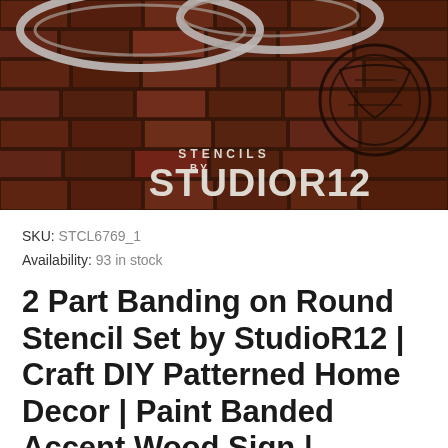[Figure (photo): Brick wall background with stencil product (white circular/oval stencil shapes visible at top). Overlaid with brand text 'STENCILS BY STUDIOR12' in white uppercase letters. A dark circular stamp/logo visible at top right.]
SKU: STCL6769_1
Availability: 93 in stock
2 Part Banding on Round Stencil Set by StudioR12 | Craft DIY Patterned Home Decor | Paint Banded Accent Wood Sign | Reusable | Select size |